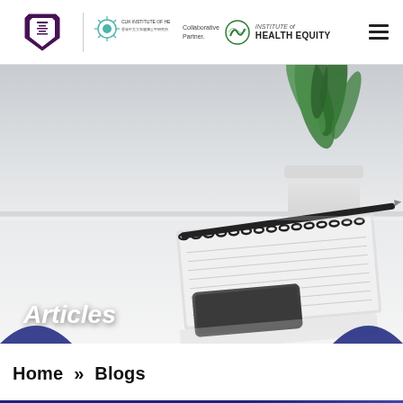The Chinese University of Hong Kong | CUK Institute of Health Equity | Collaborative Partner | Institute of Health Equity
[Figure (photo): A desk scene with a white plant pot containing green leaves, a spiral notebook, a black smartphone, and a pen on a white surface. The background is blurred grey-white.]
Articles
Home » Blogs